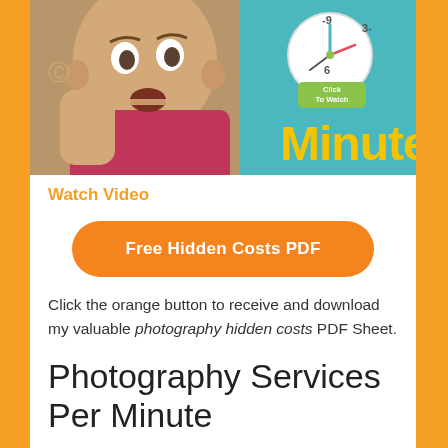[Figure (photo): A bald man in a red/pink shirt looking shocked, next to a blue background with a clock and the word 'Minute' in yellow text. A 'Click To Watch' button is shown near the clock.]
Watch Video
Free Hidden Costs PDF
Click the orange button to receive and download my valuable photography hidden costs PDF Sheet.
Photography Services
Per Minute